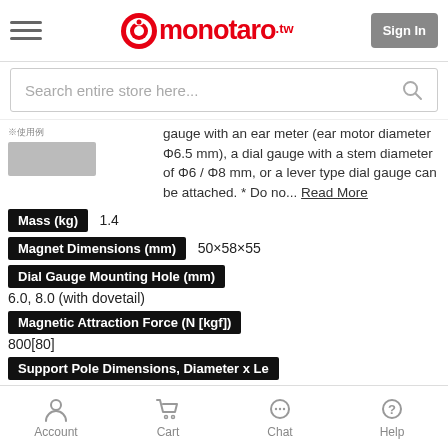monotaro.tw — Sign In
Search entire store here...
gauge with an ear meter (ear motor diameter Φ6.5 mm), a dial gauge with a stem diameter of Φ6 / Φ8 mm, or a lever type dial gauge can be attached. * Do no... Read More
| Attribute | Value |
| --- | --- |
| Mass (kg) | 1.4 |
| Magnet Dimensions (mm) | 50×58×55 |
| Dial Gauge Mounting Hole (mm) | 6.0, 8.0 (with dovetail) |
| Magnetic Attraction Force (N [kgf]) | 800[80] |
| Support Pole Dimensions, Diameter x Le... |  |
Account  Cart  Chat  Help